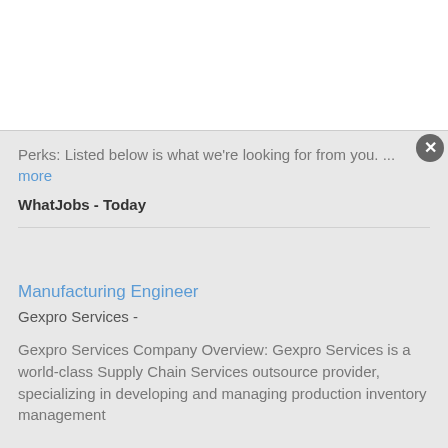Perks: Listed below is what we're looking for from you. ... more
WhatJobs - Today
Manufacturing Engineer
Gexpro Services -
Gexpro Services Company Overview: Gexpro Services is a world-class Supply Chain Services outsource provider, specializing in developing and managing production inventory management
This site uses cookies and other similar technologies to provide site functionality, analyze traffic and usage, and